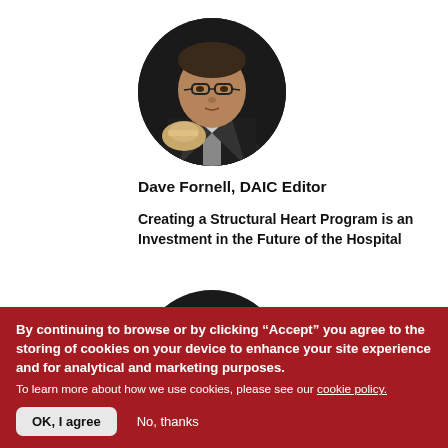[Figure (photo): Circular profile photo of Dave Fornell, a man wearing glasses and a dark suit jacket with a tie, holding something in front of a dark background]
Dave Fornell, DAIC Editor
Creating a Structural Heart Program is an Investment in the Future of the Hospital
[Figure (photo): Second circular profile photo of the same person (Dave Fornell), partially visible, cropped at bottom]
By continuing to browse or by clicking “Accept” you agree to the storing of cookies on your device to enhance your site experience and for analytical and marketing purposes.
To learn more about how we use cookies, please see our cookie policy.
OK, I agree
No, thanks